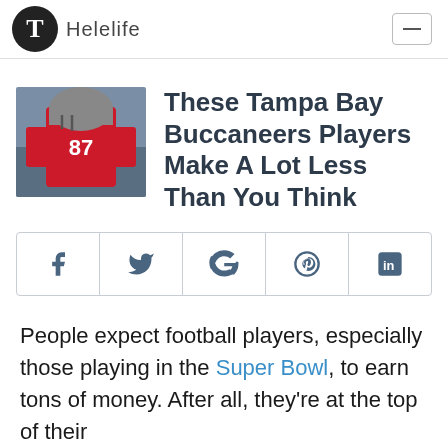T Helelife
[Figure (photo): Tampa Bay Buccaneers football player in red and white uniform, number 87]
These Tampa Bay Buccaneers Players Make A Lot Less Than You Think
[Figure (infographic): Social sharing buttons: Facebook, Twitter, Google, Pinterest, LinkedIn]
People expect football players, especially those playing in the Super Bowl, to earn tons of money. After all, they're at the top of their